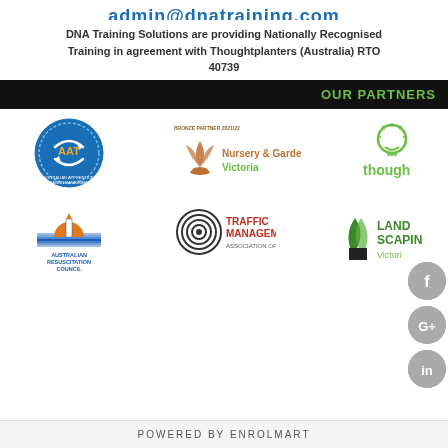DNA Training Solutions are providing Nationally Recognised Training in agreement with Thoughtplanters (Australia) RTO 40739
OUR PARTNERS
[Figure (logo): Six partner logos: AAT, Nursery & Garden Industry Victoria, Thoughtplanters, Australian Resuscitation Council, Traffic Management Association of Australia, Landscaping Victoria]
[Figure (other): Social media icons: Facebook, Google+, LinkedIn]
POWERED BY ENROLMART